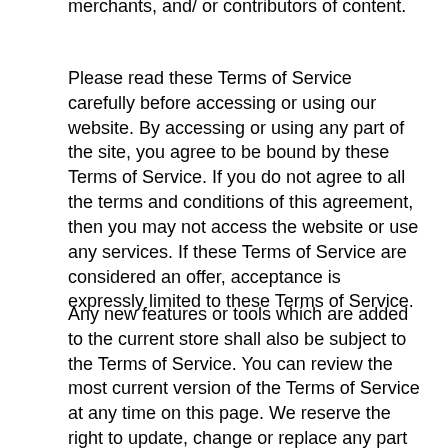merchants, and/ or contributors of content.
Please read these Terms of Service carefully before accessing or using our website. By accessing or using any part of the site, you agree to be bound by these Terms of Service. If you do not agree to all the terms and conditions of this agreement, then you may not access the website or use any services. If these Terms of Service are considered an offer, acceptance is expressly limited to these Terms of Service.
Any new features or tools which are added to the current store shall also be subject to the Terms of Service. You can review the most current version of the Terms of Service at any time on this page. We reserve the right to update, change or replace any part of these Terms of Service by posting updates and/or changes to our website. It is your responsibility to check this page periodically for changes. Your